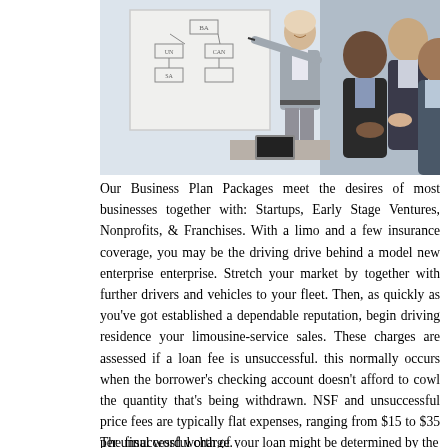[Figure (photo): A woman in a grey suit presenting at a whiteboard with an organizational chart diagram, with three men in business attire sitting in the foreground applauding or listening.]
Our Business Plan Packages meet the desires of most businesses together with: Startups, Early Stage Ventures, Nonprofits, & Franchises. With a limo and a few insurance coverage, you may be the driving drive behind a model new enterprise enterprise. Stretch your market by together with further drivers and vehicles to your fleet. Then, as quickly as you've got established a dependable reputation, begin driving residence your limousine-service sales. These charges are assessed if a loan fee is unsuccessful. this normally occurs when the borrower's checking account doesn't afford to cowl the quantity that's being withdrawn. NSF and unsuccessful price fees are typically flat expenses, ranging from $15 to $35 per unsuccessful charge.
The final word worth of your loan might be determined by the